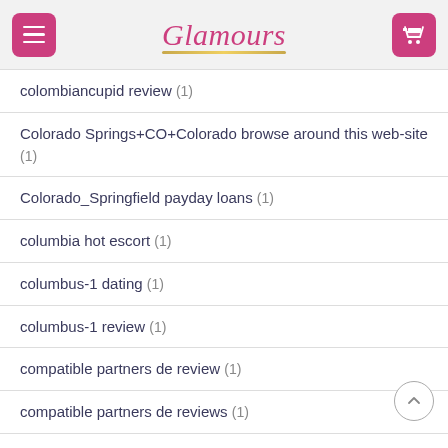Glamours
colombiancupid review (1)
Colorado Springs+CO+Colorado browse around this web-site (1)
Colorado_Springfield payday loans (1)
columbia hot escort (1)
columbus-1 dating (1)
columbus-1 review (1)
compatible partners de review (1)
compatible partners de reviews (1)